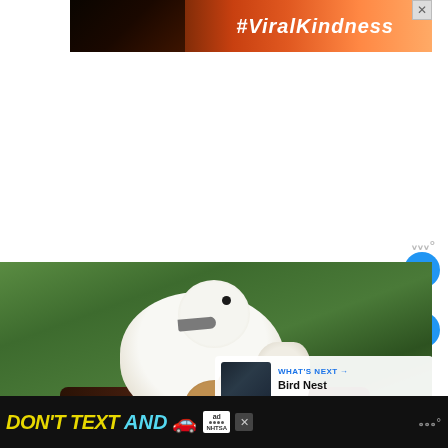[Figure (screenshot): Screenshot of a web page showing a #ViralKindness advertisement banner at the top with hands making a heart shape silhouette against a colorful sunset sky, followed by white space, then a photograph of a white bird (dove/tern chick) sheltering a smaller chick on a branch against a green bokeh background, with UI overlays including a heart/like button showing count 7, a share button, a 'WHAT'S NEXT' card for 'Bird Nest Identificatio...', and a 'DON'T TEXT AND' NHTSA advertisement at the bottom.]